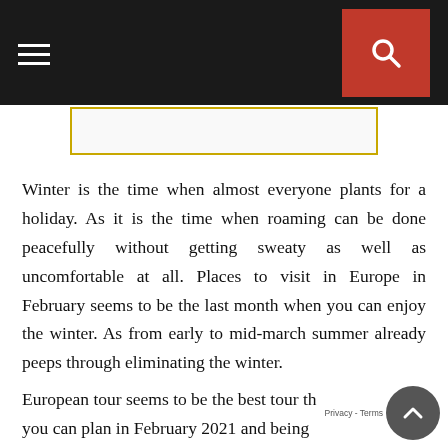Navigation header with hamburger menu and search button
[Figure (other): Advertisement placeholder box with yellow/gold border]
Winter is the time when almost everyone plants for a holiday. As it is the time when roaming can be done peacefully without getting sweaty as well as uncomfortable at all. Places to visit in Europe in February seems to be the last month when you can enjoy the winter. As from early to mid-march summer already peeps through eliminating the winter.
European tour seems to be the best tour that you can plan in February 2021 and being...